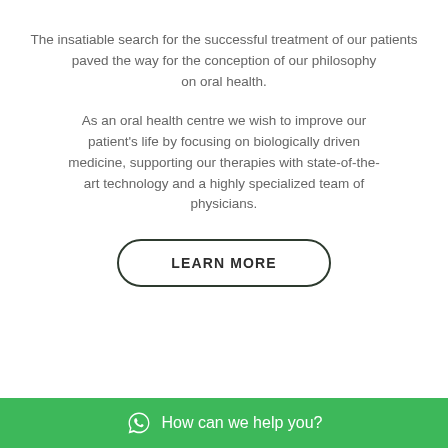The insatiable search for the successful treatment of our patients paved the way for the conception of our philosophy on oral health.
As an oral health centre we wish to improve our patient's life by focusing on biologically driven medicine, supporting our therapies with state-of-the-art technology and a highly specialized team of physicians.
LEARN MORE
How can we help you?